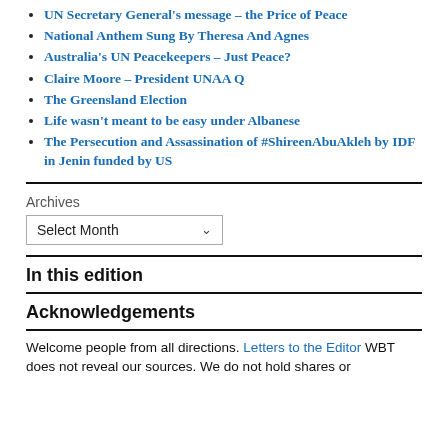UN Secretary General's message – the Price of Peace
National Anthem Sung By Theresa And Agnes
Australia's UN Peacekeepers – Just Peace?
Claire Moore – President UNAA Q
The Greensland Election
Life wasn't meant to be easy under Albanese
The Persecution and Assassination of #ShireenAbuAkleh by IDF in Jenin funded by US
Archives
In this edition
Acknowledgements
Welcome people from all directions. Letters to the Editor WBT does not reveal our sources. We do not hold shares or